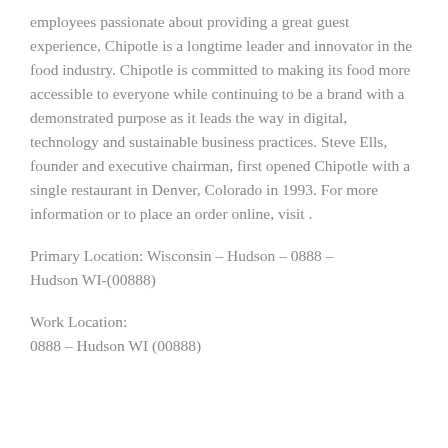employees passionate about providing a great guest experience, Chipotle is a longtime leader and innovator in the food industry. Chipotle is committed to making its food more accessible to everyone while continuing to be a brand with a demonstrated purpose as it leads the way in digital, technology and sustainable business practices. Steve Ells, founder and executive chairman, first opened Chipotle with a single restaurant in Denver, Colorado in 1993. For more information or to place an order online, visit .
Primary Location: Wisconsin – Hudson – 0888 – Hudson WI-(00888)
Work Location:
0888 – Hudson WI (00888)